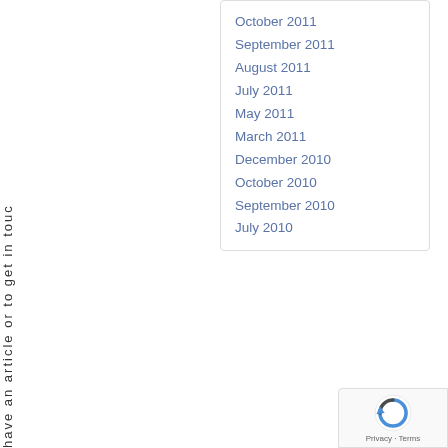have an article or to get in touc
October 2011
September 2011
August 2011
July 2011
May 2011
March 2011
December 2010
October 2010
September 2010
July 2010
[Figure (logo): reCAPTCHA badge with Privacy and Terms links]